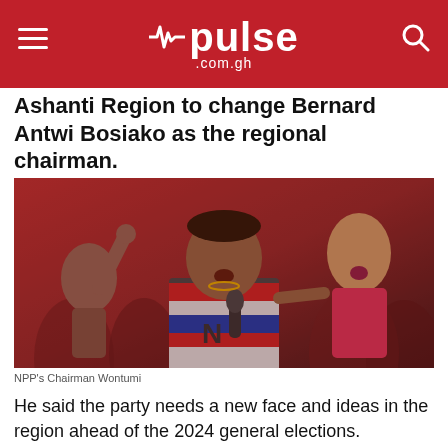pulse.com.gh
Ashanti Region to change Bernard Antwi Bosiako as the regional chairman.
[Figure (photo): NPP's Chairman Wontumi raising his fist in the air, wearing a red, white and blue striped cloth, holding a microphone, surrounded by a crowd.]
NPP's Chairman Wontumi
He said the party needs a new face and ideas in the region ahead of the 2024 general elections.